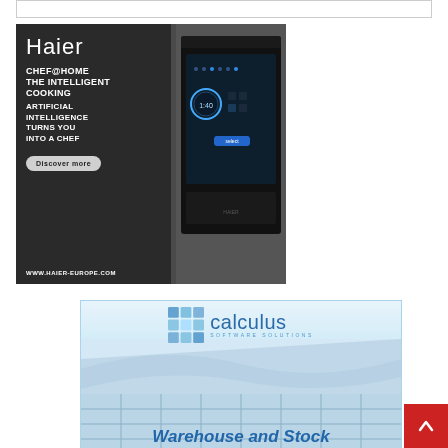[Figure (other): Top empty bordered box / content placeholder]
[Figure (other): Haier Chef@Home advertisement. Dark background showing a smart oven with touchscreen interface. Text: Haier, CHEF@HOME THE INTELLIGENT COOKING, ARTIFICIAL INTELLIGENCE TURNS YOU INTO A CHEF, Discover more button, WWW.HAIER-EUROPE.COM]
[Figure (other): Calculus Software Solutions advertisement banner showing logo with cube icon and company name, with warehouse/stock management themed imagery in background. Partial text visible: Warehouse and Stock]